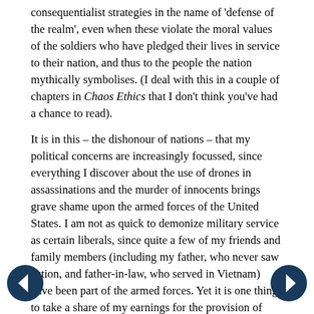consequentialist strategies in the name of 'defense of the realm', even when these violate the moral values of the soldiers who have pledged their lives in service to their nation, and thus to the people the nation mythically symbolises. (I deal with this in a couple of chapters in Chaos Ethics that I don't think you've had a chance to read).
It is in this – the dishonour of nations – that my political concerns are increasingly focussed, since everything I discover about the use of drones in assassinations and the murder of innocents brings grave shame upon the armed forces of the United States. I am not as quick to demonize military service as certain liberals, since quite a few of my friends and family members (including my father, who never saw action, and father-in-law, who served in Vietnam) have been part of the armed forces. Yet it is one thing to take a share of my earnings for the provision of public goods I either agree upon, or accept that I have a minority view of. It is quite another to force me contribute towards bringing shame upon those who honourably serve by betraying their values through
[Figure (other): Left navigation arrow button (dark blue circle with white left-pointing arrow)]
[Figure (other): Right navigation arrow button (dark blue circle with white right-pointing arrow)]